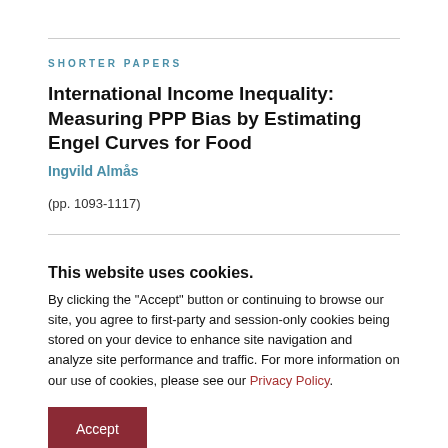SHORTER PAPERS
International Income Inequality: Measuring PPP Bias by Estimating Engel Curves for Food
Ingvild Almås
(pp. 1093-1117)
This website uses cookies. By clicking the "Accept" button or continuing to browse our site, you agree to first-party and session-only cookies being stored on your device to enhance site navigation and analyze site performance and traffic. For more information on our use of cookies, please see our Privacy Policy.